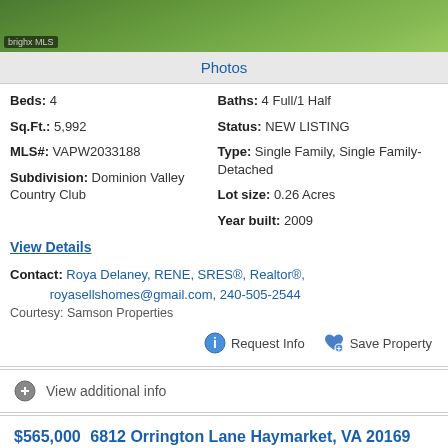[Figure (photo): Grass/lawn photo with bright MLS logo watermark in bottom left corner]
Photos
Beds: 4   Baths: 4 Full/1 Half
Sq.Ft.: 5,992   Status: NEW LISTING
MLS#: VAPW2033188   Type: Single Family, Single Family-Detached
Subdivision: Dominion Valley Country Club   Lot size: 0.26 Acres
  Year built: 2009
View Details
Contact: Roya Delaney, RENE, SRES®, Realtor®, royasellshomes@gmail.com, 240-505-2544
Courtesy: Samson Properties
Request Info   Save Property
View additional info
$565,000   6812 Orrington Lane Haymarket, VA 20169